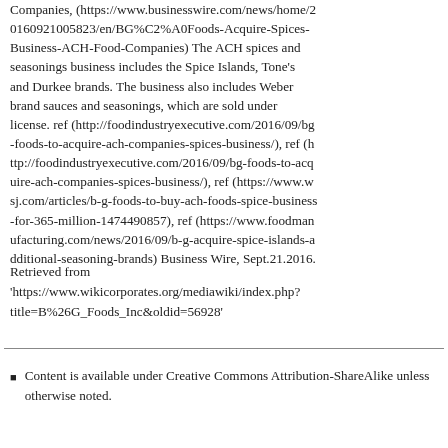Companies, (https://www.businesswire.com/news/home/20160921005823/en/BG%C2%A0Foods-Acquire-Spices-Business-ACH-Food-Companies) The ACH spices and seasonings business includes the Spice Islands, Tone's and Durkee brands. The business also includes Weber brand sauces and seasonings, which are sold under license. ref (http://foodindustryexecutive.com/2016/09/bg-foods-to-acquire-ach-companies-spices-business/), ref (http://foodindustryexecutive.com/2016/09/bg-foods-to-acquire-ach-companies-spices-business/), ref (https://www.wsj.com/articles/b-g-foods-to-buy-ach-foods-spice-business-for-365-million-1474490857), ref (https://www.foodmanufacturing.com/news/2016/09/b-g-acquire-spice-islands-additional-seasoning-brands) Business Wire, Sept.21.2016.
Retrieved from 'https://www.wikicorporates.org/mediawiki/index.php?title=B%26G_Foods_Inc&oldid=56928'
Content is available under Creative Commons Attribution-ShareAlike unless otherwise noted.